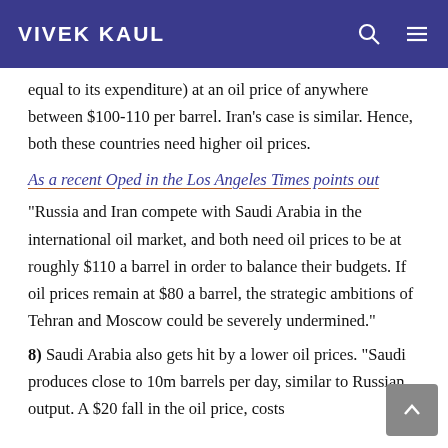VIVEK KAUL
equal to its expenditure) at an oil price of anywhere between $100-110 per barrel. Iran's case is similar. Hence, both these countries need higher oil prices.
As a recent Oped in the Los Angeles Times points out
“Russia and Iran compete with Saudi Arabia in the international oil market, and both need oil prices to be at roughly $110 a barrel in order to balance their budgets. If oil prices remain at $80 a barrel, the strategic ambitions of Tehran and Moscow could be severely undermined.”
8) Saudi Arabia also gets hit by a lower oil prices. “Saudi produces close to 10m barrels per day, similar to Russian output. A $20 fall in the oil price, costs